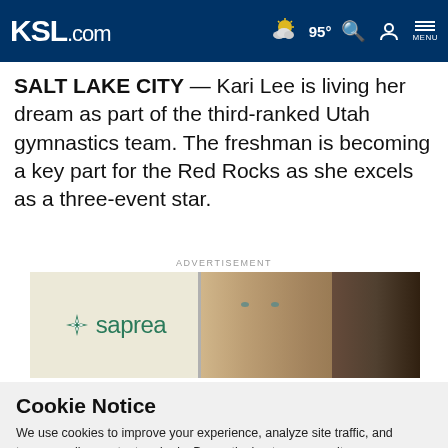KSL.com  95° MENU
SALT LAKE CITY — Kari Lee is living her dream as part of the third-ranked Utah gymnastics team. The freshman is becoming a key part for the Red Rocks as she excels as a three-event star.
ADVERTISEMENT
[Figure (logo): Saprea advertisement banner with logo on left and child's face on right]
Cookie Notice
We use cookies to improve your experience, analyze site traffic, and to personalize content and ads. By continuing to use our site, you consent to our use of cookies. Please visit our Terms of Use and Privacy Policy for more information.
Continue